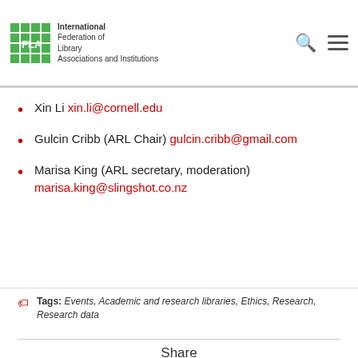IFLA - International Federation of Library Associations and Institutions
Xin Li xin.li@cornell.edu
Gulcin Cribb (ARL Chair) gulcin.cribb@gmail.com
Marisa King (ARL secretary, moderation) marisa.king@slingshot.co.nz
Tags: Events, Academic and research libraries, Ethics, Research, Research data
Share
Facebook